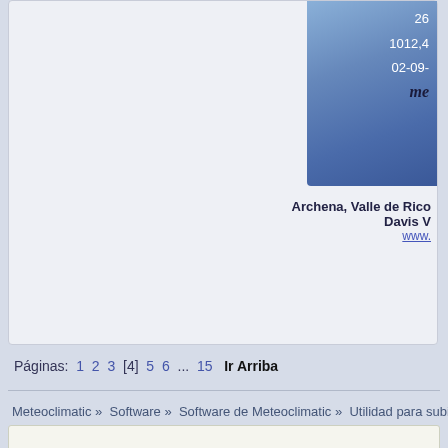[Figure (screenshot): Blue weather station card showing values: 26, 1012,4, 02-09-, and cursive 'me' text]
Archena, Valle de Rico... Davis V... www....
Páginas: 1 2 3 [4] 5 6 ... 15   Ir Arriba
Meteoclimatic » Software » Software de Meteoclimatic » Utilidad para subir datos a Mete...
SMF 2.0.17 | SMF © 2015, Simple M... XHTML   RSS   WAP2   Página generada en 0.219 segundos co...